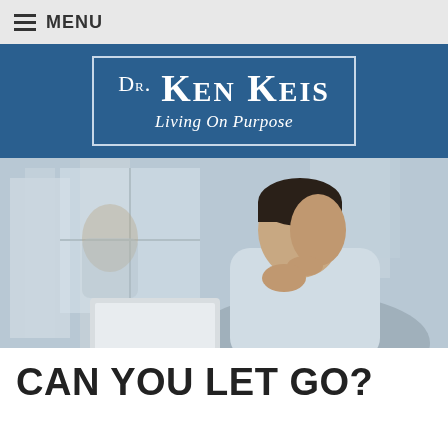MENU
[Figure (logo): Dr. Ken Keis - Living On Purpose logo on blue background with white border box]
[Figure (photo): A man in a light blue polo shirt sitting at a laptop, looking thoughtfully out a window with city buildings visible in the background]
CAN YOU LET GO?